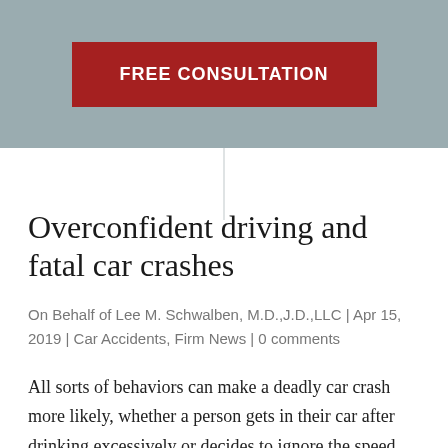[Figure (other): Header bar with red FREE CONSULTATION button on grey background]
Overconfident driving and fatal car crashes
On Behalf of Lee M. Schwalben, M.D.,J.D.,LLC | Apr 15, 2019 | Car Accidents, Firm News | 0 comments
All sorts of behaviors can make a deadly car crash more likely, whether a person gets in their car after drinking excessively or decides to ignore the speed limit because they need to get to work on time. However,